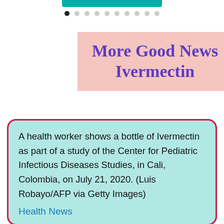[Figure (other): Teal decorative bar at top of page (partial, cropped)]
[Figure (other): Navigation dots row — one filled black dot followed by nine grey dots indicating carousel position]
More Good News Ivermectin
A health worker shows a bottle of Ivermectin as part of a study of the Center for Pediatric Infectious Diseases Studies, in Cali, Colombia, on July 21, 2020. (Luis Robayo/AFP via Getty Images)
Health News